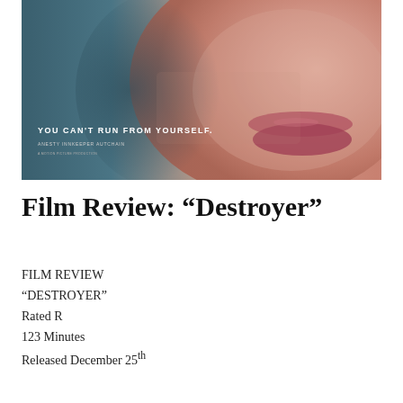[Figure (photo): Close-up movie poster for 'Destroyer' showing a woman's lower face with lips visible, teal/blue background on left, skin tones on right. Tagline reads 'YOU CAN'T RUN FROM YOURSELF.']
Film Review: “Destroyer”
FILM REVIEW
“DESTROYER”
Rated R
123 Minutes
Released December 25th